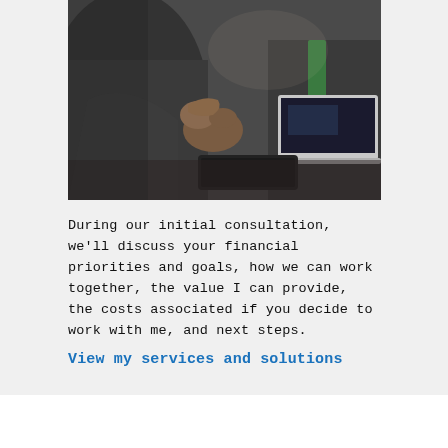[Figure (photo): Two business professionals at a table with a laptop and tablet, focusing on financial consultation. Close-up of hands gesturing near a laptop screen.]
During our initial consultation, we'll discuss your financial priorities and goals, how we can work together, the value I can provide, the costs associated if you decide to work with me, and next steps.
View my services and solutions